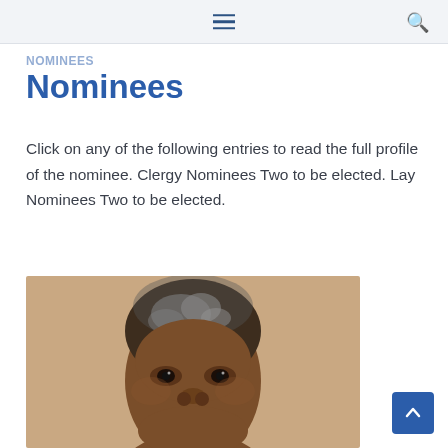≡ 🔍
Nominees
Click on any of the following entries to read the full profile of the nominee. Clergy Nominees Two to be elected. Lay Nominees Two to be elected.
[Figure (photo): Portrait photo of a woman with short grey hair, smiling, against a tan/brown background. Only the face and top of shoulders are visible.]